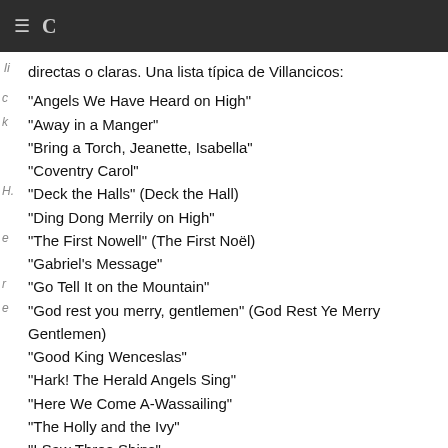C
directas o claras. Una lista típica de Villancicos:
"Angels We Have Heard on High"
"Away in a Manger"
"Bring a Torch, Jeanette, Isabella"
"Coventry Carol"
"Deck the Halls" (Deck the Hall)
"Ding Dong Merrily on High"
"The First Nowell" (The First Noël)
"Gabriel's Message"
"Go Tell It on the Mountain"
"God rest you merry, gentlemen" (God Rest Ye Merry Gentlemen)
"Good King Wenceslas"
"Hark! The Herald Angels Sing"
"Here We Come A-Wassailing"
"The Holly and the Ivy"
"I Saw Three Ships"
"I Wonder as I Wander"
"In dulci jubilo"